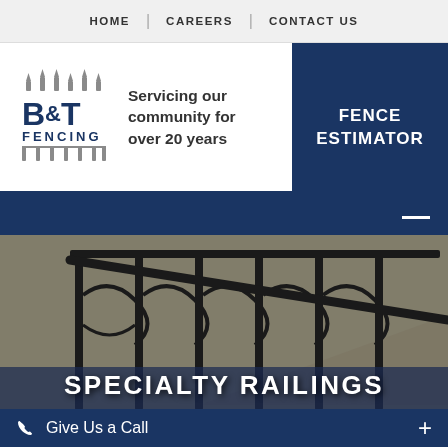HOME | CAREERS | CONTACT US
[Figure (logo): B&T Fencing logo with decorative fence post icons in blue and gray]
Servicing our community for over 20 years
FENCE ESTIMATOR
[Figure (photo): Ornamental wrought iron specialty railings with scrollwork on a staircase with white brick background]
SPECIALTY RAILINGS
Give Us a Call